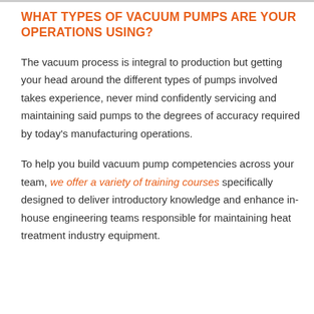WHAT TYPES OF VACUUM PUMPS ARE YOUR OPERATIONS USING?
The vacuum process is integral to production but getting your head around the different types of pumps involved takes experience, never mind confidently servicing and maintaining said pumps to the degrees of accuracy required by today's manufacturing operations.
To help you build vacuum pump competencies across your team, we offer a variety of training courses specifically designed to deliver introductory knowledge and enhance in-house engineering teams responsible for maintaining heat treatment industry equipment.